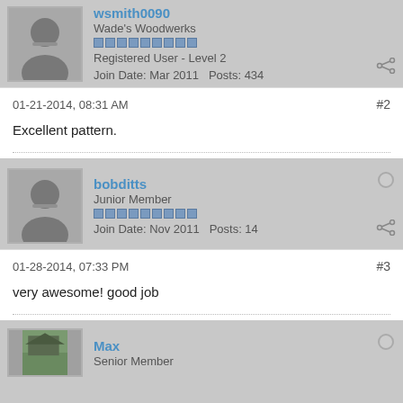wsmith0090
Wade's Woodwerks
Registered User - Level 2
Join Date: Mar 2011   Posts: 434
01-21-2014, 08:31 AM
#2
Excellent pattern.
bobditts
Junior Member
Join Date: Nov 2011   Posts: 14
01-28-2014, 07:33 PM
#3
very awesome! good job
Max
Senior Member